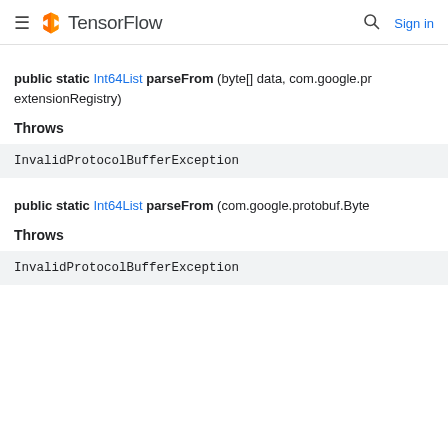TensorFlow
public static Int64List parseFrom (byte[] data, com.google.pr extensionRegistry)
Throws
| InvalidProtocolBufferException |
public static Int64List parseFrom (com.google.protobuf.Byte
Throws
| InvalidProtocolBufferException |